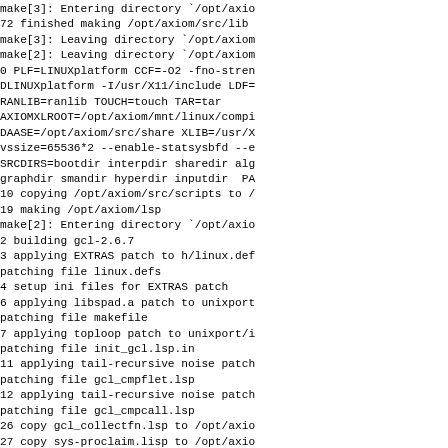make[3]: Entering directory `/opt/axio
72 finished making /opt/axiom/src/lib
make[3]: Leaving directory `/opt/axiom
make[2]: Leaving directory `/opt/axiom
0 PLF=LINUXplatform CCF=-O2 -fno-stren
DLINUXplatform -I/usr/X11/include LDF=
RANLIB=ranlib TOUCH=touch TAR=tar
AXIOMXLROOT=/opt/axiom/mnt/linux/compi
DAASE=/opt/axiom/src/share XLIB=/usr/X
vssize=65536*2 --enable-statsysbfd --e
SRCDIRS=bootdir interpdir sharedir alg
graphdir smandir hyperdir inputdir PA
10 copying /opt/axiom/src/scripts to /
19 making /opt/axiom/lsp
make[2]: Entering directory `/opt/axio
2 building gcl-2.6.7
3 applying EXTRAS patch to h/linux.def
patching file linux.defs
4 setup ini files for EXTRAS patch
6 applying libspad.a patch to unixport
patching file makefile
7 applying toploop patch to unixport/i
patching file init_gcl.lsp.in
11 applying tail-recursive noise patch
patching file gcl_cmpflet.lsp
12 applying tail-recursive noise patch
patching file gcl_cmpcall.lsp
26 copy gcl_collectfn.lsp to /opt/axio
27 copy sys-proclaim.lisp to /opt/axio
proclaim.lisp
loading cache ./config.cache